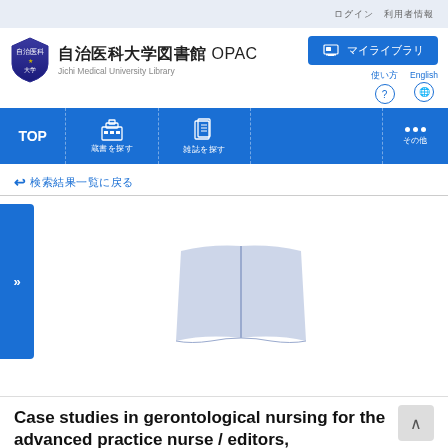自治医科大学図書館 OPAC — Jichi Medical University Library
[Figure (screenshot): University library OPAC navigation interface with TOP, library browse, document browse, and more (…) navigation items in blue bar]
» 検索結果一覧へ戻る
[Figure (illustration): Open book placeholder icon in light blue/lavender color]
Case studies in gerontological nursing for the advanced practice nurse / editors,